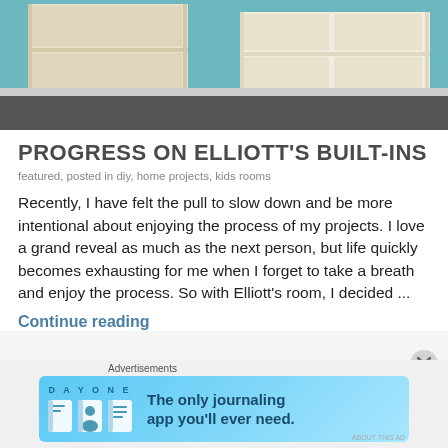[Figure (photo): Photo of wooden built-in shelving units with white/light wood finish, partially assembled, on a dark floor against a teal wall]
PROGRESS ON ELLIOTT'S BUILT-INS
featured, posted in diy, home projects, kids rooms
Recently, I have felt the pull to slow down and be more intentional about enjoying the process of my projects. I love a grand reveal as much as the next person, but life quickly becomes exhausting for me when I forget to take a breath and enjoy the process. So with Elliott's room, I decided ...
Continue reading
[Figure (screenshot): Advertisement banner for Day One journaling app with icons and text 'The only journaling app you'll ever need.']